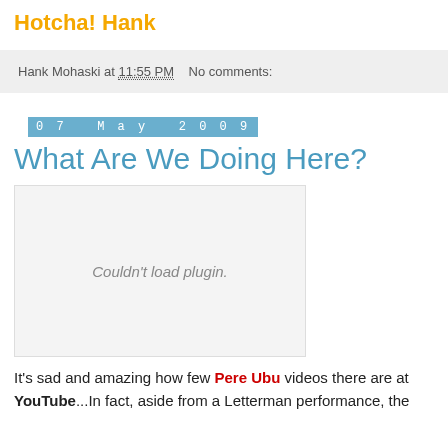Hotcha! Hank
Hank Mohaski at 11:55 PM   No comments:
07 May 2009
What Are We Doing Here?
[Figure (other): Embedded plugin placeholder showing 'Couldn't load plugin.']
It's sad and amazing how few Pere Ubu videos there are at YouTube...In fact, aside from a Letterman performance, the